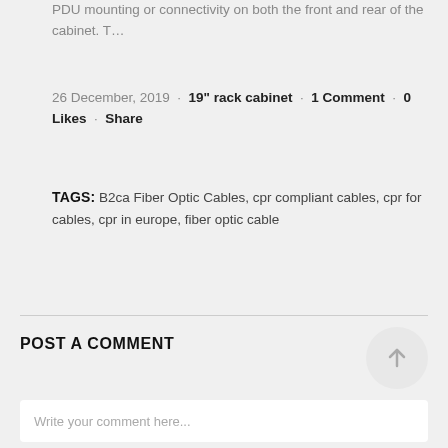PDU mounting or connectivity on both the front and rear of the cabinet. T…
26 December, 2019 · 19" rack cabinet · 1 Comment · 0 Likes · Share
TAGS: B2ca Fiber Optic Cables, cpr compliant cables, cpr for cables, cpr in europe, fiber optic cable
POST A COMMENT
Write your comment here...